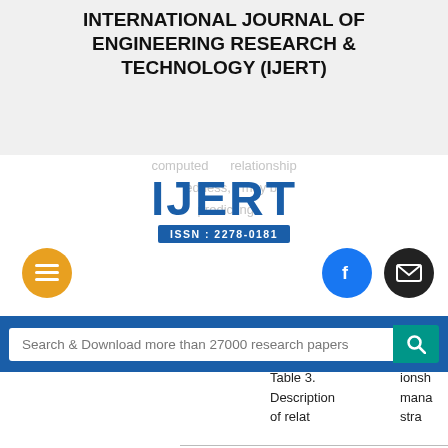INTERNATIONAL JOURNAL OF ENGINEERING RESEARCH & TECHNOLOGY (IJERT)
[Figure (logo): IJERT logo with ISSN: 2278-0181 on blue ribbon, with hamburger menu button, Facebook button, and email button]
Search & Download more than 27000 research papers
Table 3. Description of relat
ionsh mana stra
Case I: Highway Interchange Construction Project
Case Highw Wide Proje
Project